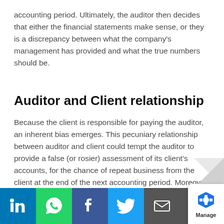accounting period. Ultimately, the auditor then decides that either the financial statements make sense, or they is a discrepancy between what the company's management has provided and what the true numbers should be.
Auditor and Client relationship
Because the client is responsible for paying the auditor, an inherent bias emerges. This pecuniary relationship between auditor and client could tempt the auditor to provide a false (or rosier) assessment of its client’s accounts, for the chance of repeat business from the client at the end of the next accounting period. Moreover, the client may also present the auditor with false or exaggerated figures to inflate the company's true value &#8211; this is known as ‘cooking the b… Whether a…